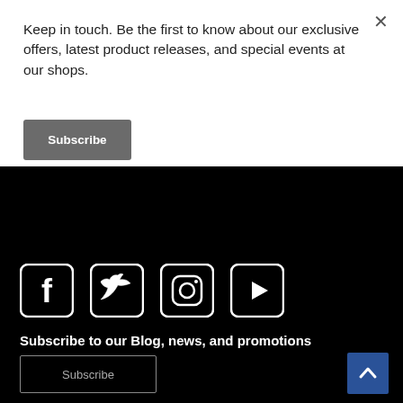Keep in touch. Be the first to know about our exclusive offers, latest product releases, and special events at our shops.
Subscribe
[Figure (illustration): Social media icons: Facebook, Twitter, Instagram, YouTube — white rounded square icons on black background]
Subscribe to our Blog, news, and promotions
Subscribe
[Figure (illustration): Back to top button — blue square with white upward chevron arrow]